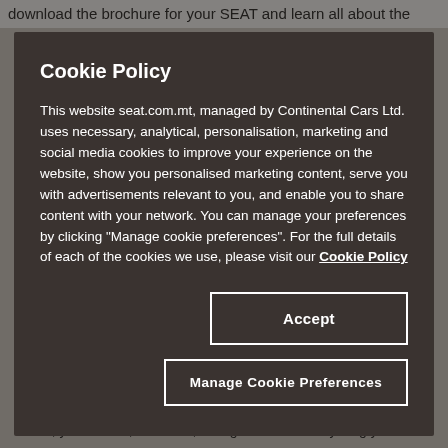download the brochure for your SEAT and learn all about the
Cookie Policy
This website seat.com.mt, managed by Continental Cars Ltd. uses necessary, analytical, personalisation, marketing and social media cookies to improve your experience on the website, show you personalised marketing content, serve you with advertisements relevant to you, and enable you to share content with your network. You can manage your preferences by clicking "Manage cookie preferences". For the full details of each of the cookies we use, please visit our Cookie Policy
Accept
Manage Cookie Preferences
The new SEAT Ibiza
You, your mates, music on, all together with everything you